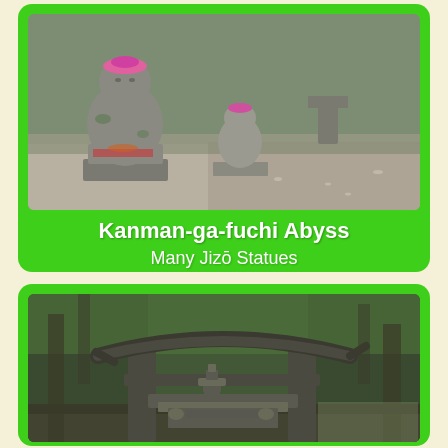[Figure (photo): Stone Jizo statues with pink bibs/hats in a forested area with gravel ground, wet from rain]
Kanman-ga-fuchi Abyss
Many Jizō Statues
[Figure (photo): Traditional Japanese torii gate in a forested area with stone lanterns and shrine elements underneath, surrounded by tall trees]